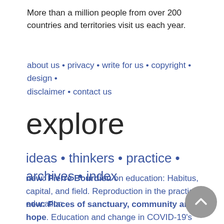More than a million people from over 200 countries and territories visit us each year.
about us • privacy • write for us • copyright • design • disclaimer • contact us
explore
ideas • thinkers • practice • archives • index
new: Pierre Bourdieu on education: Habitus, capital, and field. Reproduction in the practice of education.
new: Places of sanctuary, community and hope. Education and change in COVID-19's 'new normal'.